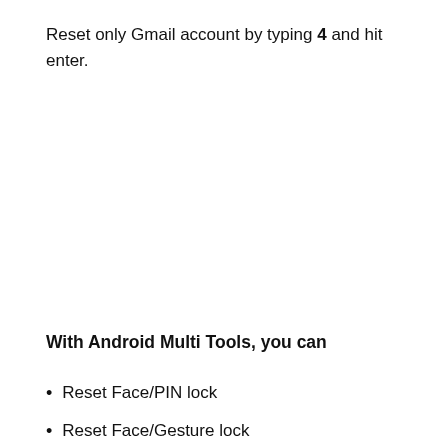Reset only Gmail account by typing 4 and hit enter.
With Android Multi Tools, you can
Reset Face/PIN lock
Reset Face/Gesture lock